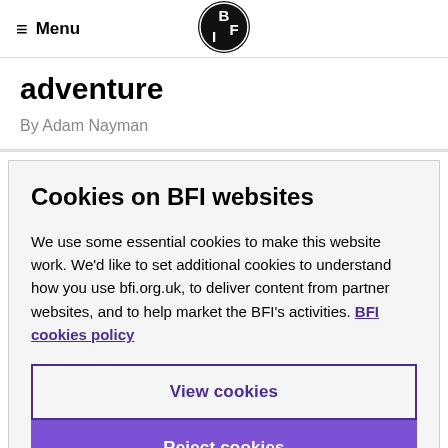Menu | BFI
adventure
By Adam Nayman
Cookies on BFI websites
We use some essential cookies to make this website work. We'd like to set additional cookies to understand how you use bfi.org.uk, to deliver content from partner websites, and to help market the BFI's activities. BFI cookies policy
View cookies
Reject cookies
Accept cookies